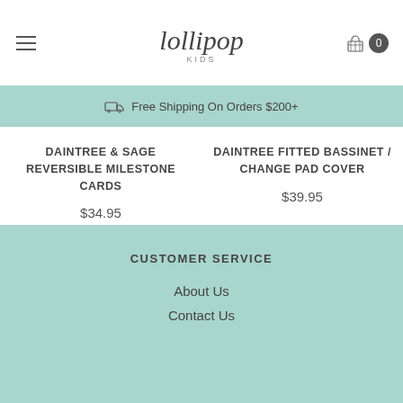lollipop kids
Free Shipping On Orders $200+
DAINTREE & SAGE REVERSIBLE MILESTONE CARDS
$34.95
DAINTREE FITTED BASSINET / CHANGE PAD COVER
$39.95
CUSTOMER SERVICE
About Us
Contact Us